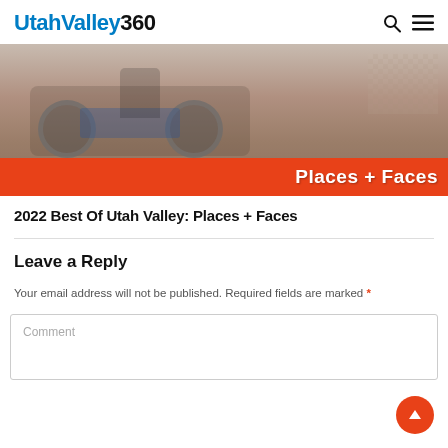UtahValley360
[Figure (photo): Photo of a person on a large-wheeled sand cart/vehicle on sandy ground. Red banner at the bottom reads 'Places + Faces' in white bold text.]
2022 Best Of Utah Valley: Places + Faces
Leave a Reply
Your email address will not be published. Required fields are marked *
Comment